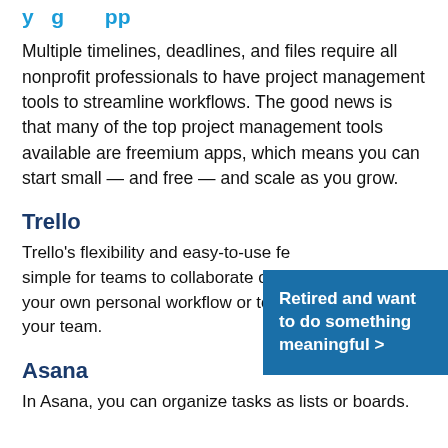y g pp
Multiple timelines, deadlines, and files require all nonprofit professionals to have project management tools to streamline workflows. The good news is that many of the top project management tools available are freemium apps, which means you can start small — and free — and scale as you grow.
Trello
Trello's flexibility and easy-to-use features make it simple for teams to collaborate on projects. Use it for your own personal workflow or to work together with your team.
Retired and want to do something meaningful >
Asana
In Asana, you can organize tasks as lists or boards.